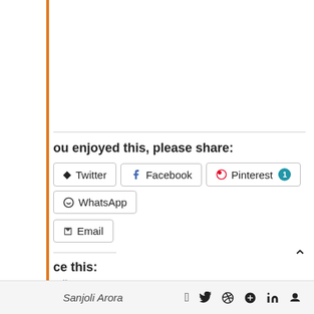you enjoyed this, please share:
Twitter
Facebook
Pinterest 1
WhatsApp
Email
ce this:
ading...
ndia Waste
Waste
Waste management
Waste Problem
Sanjoli Arora